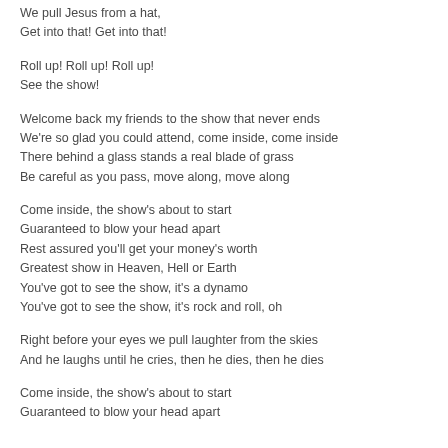We pull Jesus from a hat,
Get into that! Get into that!
Roll up! Roll up! Roll up!
See the show!
Welcome back my friends to the show that never ends
We're so glad you could attend, come inside, come inside
There behind a glass stands a real blade of grass
Be careful as you pass, move along, move along
Come inside, the show's about to start
Guaranteed to blow your head apart
Rest assured you'll get your money's worth
Greatest show in Heaven, Hell or Earth
You've got to see the show, it's a dynamo
You've got to see the show, it's rock and roll, oh
Right before your eyes we pull laughter from the skies
And he laughs until he cries, then he dies, then he dies
Come inside, the show's about to start
Guaranteed to blow your head apart